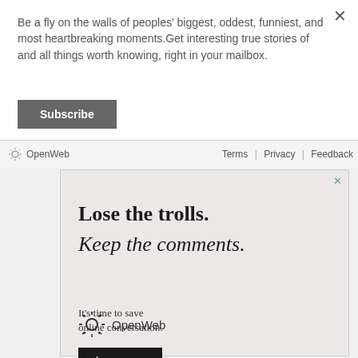Be a fly on the walls of peoples' biggest, oddest, funniest, and most heartbreaking moments.Get interesting true stories of and all things worth knowing, right in your mailbox.
Subscribe
OpenWeb   Terms | Privacy | Feedback
[Figure (infographic): OpenWeb advertisement: Lose the trolls. Keep the comments. It's time to save online conversation. Learn more button. OpenWeb logo.]